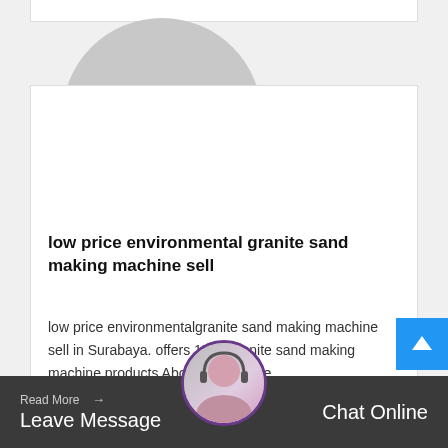[Figure (illustration): Gray placeholder circle representing a product image]
low price environmental granite sand making machine sell
low price environmentalgranite sand making machine sell in Surabaya. offers 1563 granite sand making machine products About 54 of these...
Read More →
Leave Message
[Figure (photo): Customer service avatar with headset]
Chat Online